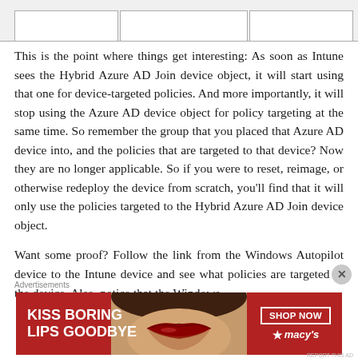This is the point where things get interesting: As soon as Intune sees the Hybrid Azure AD Join device object, it will start using that one for device-targeted policies. And more importantly, it will stop using the Azure AD device object for policy targeting at the same time. So remember the group that you placed that Azure AD device into, and the policies that are targeted to that device? Now they are no longer applicable. So if you were to reset, reimage, or otherwise redeploy the device from scratch, you'll find that it will only use the policies targeted to the Hybrid Azure AD Join device object.
Want some proof? Follow the link from the Windows Autopilot device to the Intune device and see what policies are targeted to the device. Also, notice that the Windows Autopilot device still points to the Azure AD device object...
Advertisements
[Figure (other): Advertisement banner for Macy's cosmetics: 'KISS BORING LIPS GOODBYE' with red lips image and 'SHOP NOW' button with Macy's star logo]